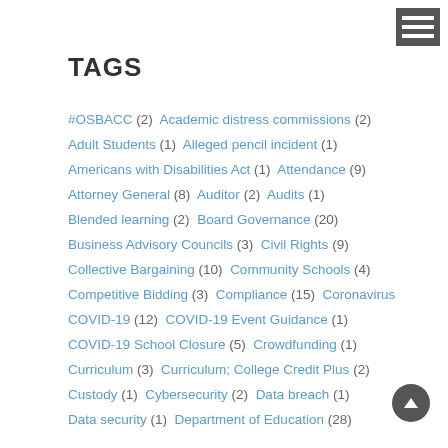TAGS
#OSBACC (2) Academic distress commissions (2) Adult Students (1) Alleged pencil incident (1) Americans with Disabilities Act (1) Attendance (9) Attorney General (8) Auditor (2) Audits (1) Blended learning (2) Board Governance (20) Business Advisory Councils (3) Civil Rights (9) Collective Bargaining (10) Community Schools (4) Competitive Bidding (3) Compliance (15) Coronavirus COVID-19 (12) COVID-19 Event Guidance (1) COVID-19 School Closure (5) Crowdfunding (1) Curriculum (3) Curriculum; College Credit Plus (2) Custody (1) Cybersecurity (2) Data breach (1) Data security (1) Department of Education (28)